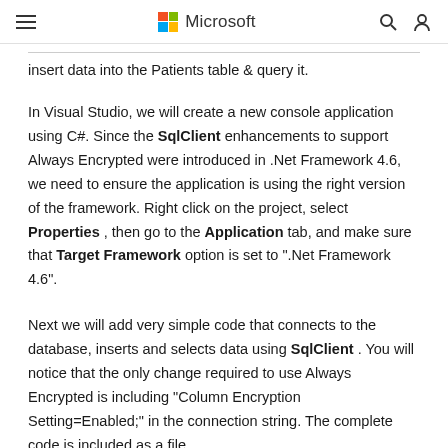Microsoft
insert data into the Patients table & query it.
In Visual Studio, we will create a new console application using C#. Since the SqlClient enhancements to support Always Encrypted were introduced in .Net Framework 4.6, we need to ensure the application is using the right version of the framework. Right click on the project, select Properties , then go to the Application tab, and make sure that Target Framework option is set to ".Net Framework 4.6".
Next we will add very simple code that connects to the database, inserts and selects data using SqlClient . You will notice that the only change required to use Always Encrypted is including "Column Encryption Setting=Enabled;" in the connection string. The complete code is included as a file